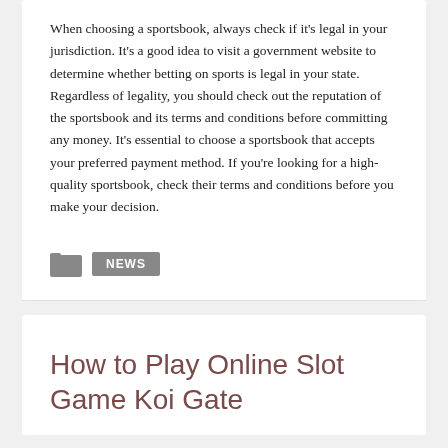When choosing a sportsbook, always check if it's legal in your jurisdiction. It's a good idea to visit a government website to determine whether betting on sports is legal in your state. Regardless of legality, you should check out the reputation of the sportsbook and its terms and conditions before committing any money. It's essential to choose a sportsbook that accepts your preferred payment method. If you're looking for a high-quality sportsbook, check their terms and conditions before you make your decision.
NEWS
How to Play Online Slot Game Koi Gate